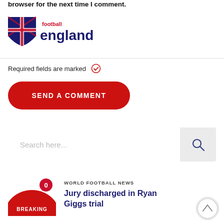browser for the next time I comment.
[Figure (logo): Football England logo with UK flag shield and 'football england' text in red and navy]
Required fields are marked
SEND A COMMENT
Search here...
WORLD FOOTBALL NEWS
Jury discharged in Ryan Giggs trial